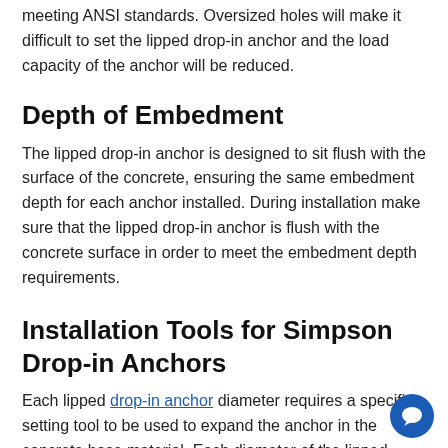meeting ANSI standards. Oversized holes will make it difficult to set the lipped drop-in anchor and the load capacity of the anchor will be reduced.
Depth of Embedment
The lipped drop-in anchor is designed to sit flush with the surface of the concrete, ensuring the same embedment depth for each anchor installed. During installation make sure that the lipped drop-in anchor is flush with the concrete surface in order to meet the embedment depth requirements.
Installation Tools for Simpson Drop-in Anchors
Each lipped drop-in anchor diameter requires a specific setting tool to be used to expand the anchor in the concrete base material. Each diameter of the lipped drop-